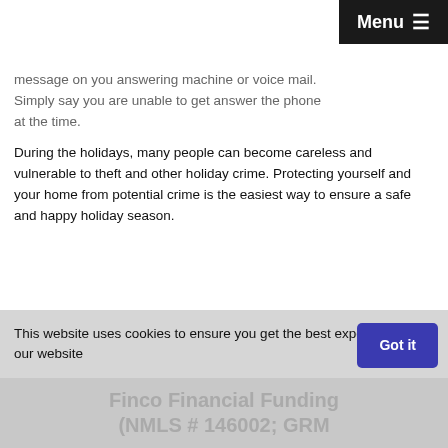Menu ≡
message on you answering machine or voice mail. Simply say you are unable to get answer the phone at the time.
During the holidays, many people can become careless and vulnerable to theft and other holiday crime. Protecting yourself and your home from potential crime is the easiest way to ensure a safe and happy holiday season.
This website uses cookies to ensure you get the best experience on our website
Finco Financial Funding (NMLS # 146002; GRM...